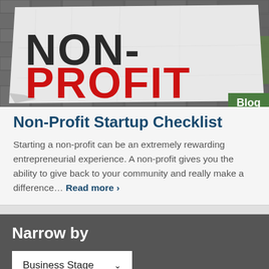[Figure (photo): A crumpled white paper/poster with large text reading NON-PROFIT, where NON is in dark/black letters and PROFIT is in bold red letters, mounted on a grey brick wall background.]
Non-Profit Startup Checklist
Starting a non-profit can be an extremely rewarding entrepreneurial experience. A non-profit gives you the ability to give back to your community and really make a difference… Read more >
Narrow by
Business Stage